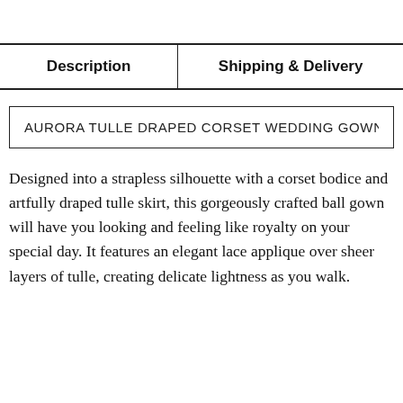| Description | Shipping & Delivery |
| --- | --- |
AURORA TULLE DRAPED CORSET WEDDING GOWN
Designed into a strapless silhouette with a corset bodice and artfully draped tulle skirt, this gorgeously crafted ball gown will have you looking and feeling like royalty on your special day. It features an elegant lace applique over sheer layers of tulle, creating delicate lightness as you walk.